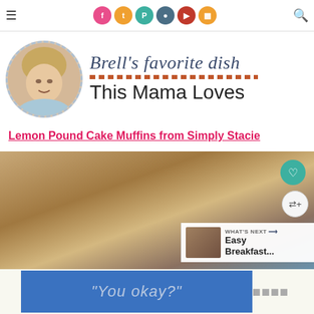Social icons nav bar with hamburger menu and search icon
[Figure (logo): Brell's favorite dish / This Mama Loves blog logo with circular avatar photo of woman]
Lemon Pound Cake Muffins from Simply Stacie
[Figure (photo): Photo of lemon pound cake muffins with white glaze drizzle on a wooden board, with heart/share overlay buttons and 'What's Next: Easy Breakfast...' card]
[Figure (other): Ad banner: blue box with italic text 'You okay?' and logo mark on right side]